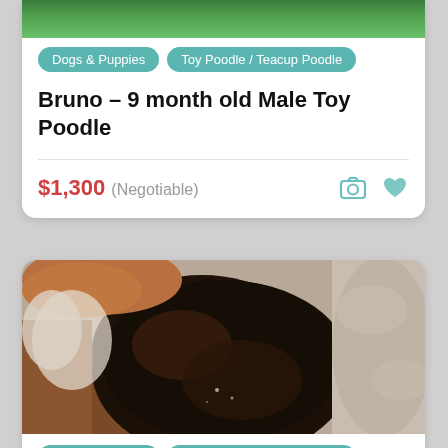[Figure (photo): Top portion of a green grassy background photo (partially visible at top of card)]
Dogs & Puppies
Toy Poodle / Teacup Poodle
Bruno – 9 month old Male Toy Poodle
$1,300 (Negotiable)
[Figure (photo): Close-up photo of a small dark brown/black fluffy puppy (Toy Poodle) lying on a light grey fluffy surface, with brown background visible]
Dogs & Puppies
Toy Poodle / Teacup Poodle